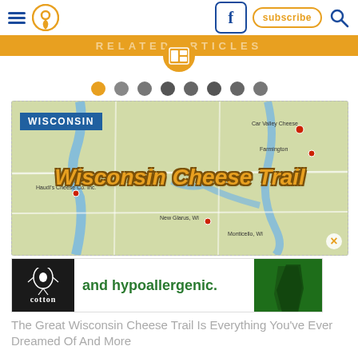Navigation header with hamburger menu, location icon, Facebook button, subscribe button, search icon
RELATED ARTICLES
[Figure (map): Map of Wisconsin Cheese Trail route showing roads and waterways with 'Wisconsin Cheese Trail' text overlay and WISCONSIN label badge]
[Figure (infographic): Cotton advertisement banner reading 'and hypoallergenic.' with cotton boll logo and green pants image]
The Great Wisconsin Cheese Trail Is Everything You've Ever Dreamed Of And More